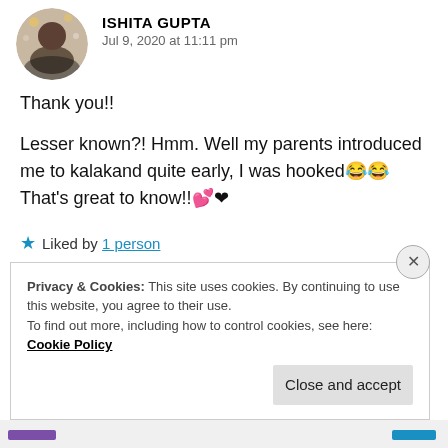ISHITA GUPTA — Jul 9, 2020 at 11:11 pm
Thank you!!
Lesser known?! Hmm. Well my parents introduced me to kalakand quite early, I was hooked😂😂
That's great to know!!💕❤
★ Liked by 1 person
Privacy & Cookies: This site uses cookies. By continuing to use this website, you agree to their use.
To find out more, including how to control cookies, see here: Cookie Policy
Close and accept